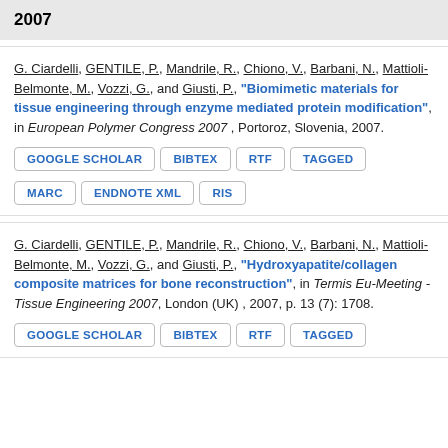2007
G. Ciardelli, GENTILE, P., Mandrile, R., Chiono, V., Barbani, N., Mattioli-Belmonte, M., Vozzi, G., and Giusti, P., "Biomimetic materials for tissue engineering through enzyme mediated protein modification", in European Polymer Congress 2007, Portoroz, Slovenia, 2007.
GOOGLE SCHOLAR
BIBTEX
RTF
TAGGED
MARC
ENDNOTE XML
RIS
G. Ciardelli, GENTILE, P., Mandrile, R., Chiono, V., Barbani, N., Mattioli-Belmonte, M., Vozzi, G., and Giusti, P., "Hydroxyapatite/collagen composite matrices for bone reconstruction", in Termis Eu-Meeting - Tissue Engineering 2007, London (UK), 2007, p. 13 (7): 1708.
GOOGLE SCHOLAR
BIBTEX
RTF
TAGGED